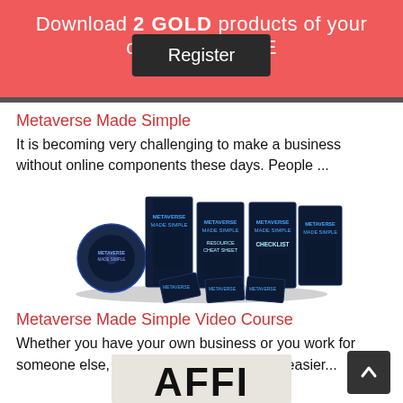Download 2 GOLD products of your choice for FREE
Register
Metaverse Made Simple
It is becoming very challenging to make a business without online components these days. People ...
[Figure (photo): Product bundle image showing multiple Metaverse Made Simple books, DVD, resource cheat sheet, checklist, and other materials arranged together]
Metaverse Made Simple Video Course
Whether you have your own business or you work for someone else, the metaverse can make it easier...
[Figure (photo): Partial image of a product showing text starting with AFFI]